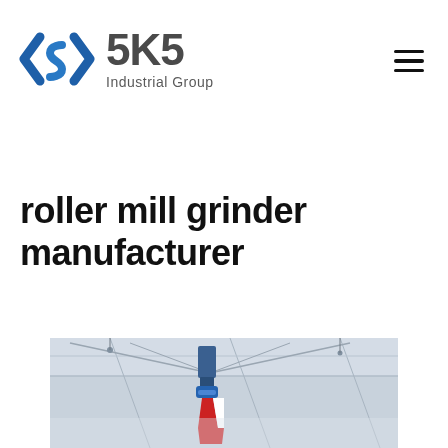SKS Industrial Group
roller mill grinder manufacturer
[Figure (photo): Industrial photo showing ceiling of a large factory/warehouse with machinery component (roller mill grinder) visible in the foreground, blue and red coloring on the equipment]